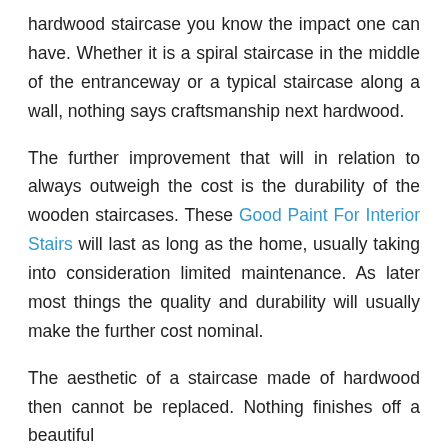hardwood staircase you know the impact one can have. Whether it is a spiral staircase in the middle of the entranceway or a typical staircase along a wall, nothing says craftsmanship next hardwood.
The further improvement that will in relation to always outweigh the cost is the durability of the wooden staircases. These Good Paint For Interior Stairs will last as long as the home, usually taking into consideration limited maintenance. As later most things the quality and durability will usually make the further cost nominal.
The aesthetic of a staircase made of hardwood then cannot be replaced. Nothing finishes off a beautiful